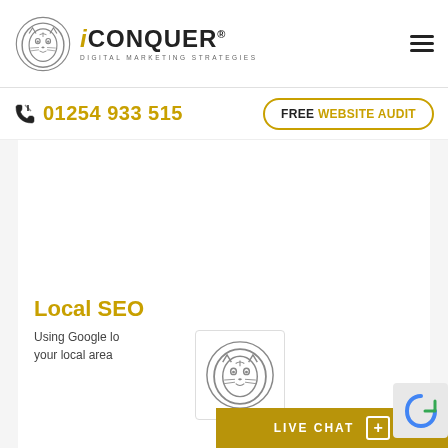iCONQUER Digital Marketing Strategies
01254 933 515
FREE WEBSITE AUDIT
[Figure (illustration): Large hero image area showing a map or local area, mostly white/light background]
Local SEO
Using Google lo... your local area...
[Figure (logo): iConquer lion logo watermark]
LIVE CHAT